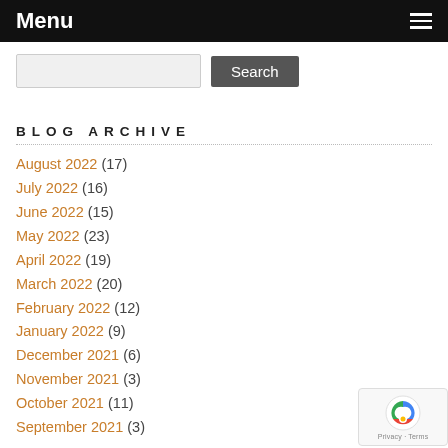Menu
BLOG ARCHIVE
August 2022 (17)
July 2022 (16)
June 2022 (15)
May 2022 (23)
April 2022 (19)
March 2022 (20)
February 2022 (12)
January 2022 (9)
December 2021 (6)
November 2021 (3)
October 2021 (11)
September 2021 (3)